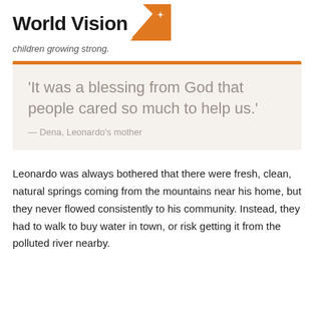[Figure (logo): World Vision logo with orange angular swoosh/star shape]
children growing strong.
'It was a blessing from God that people cared so much to help us.' — Dena, Leonardo's mother
Leonardo was always bothered that there were fresh, clean, natural springs coming from the mountains near his home, but they never flowed consistently to his community. Instead, they had to walk to buy water in town, or risk getting it from the polluted river nearby.